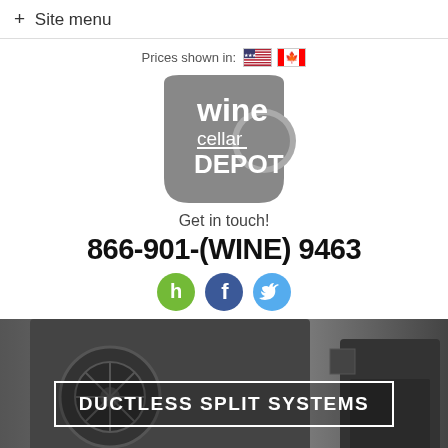+ Site menu
Prices shown in: [US flag] [CA flag]
[Figure (logo): Wine Cellar Depot logo — grey wine-bottle-shaped silhouette with white text reading 'wine cellar DEPOT']
Get in touch!
866-901-(WINE) 9463
[Figure (illustration): Three social media icons: Houzz (green circle with white 'h'), Facebook (blue circle with white 'f'), Twitter (light blue circle with white bird)]
[Figure (photo): Product photo of ductless split wine cellar cooling units — dark metal units shown from behind/side with fans visible]
DUCTLESS SPLIT SYSTEMS